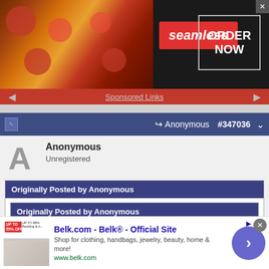[Figure (screenshot): Seamless food delivery advertisement banner with pizza image on left, Seamless logo in red, and ORDER NOW button on right]
Sponsored Links
Anonymous #347036
Anonymous
Unregistered
Originally Posted by Anonymous
Originally Posted by Anonymous
Originally Posted by Anonymous
Any would be amazing, but if the offers came:
[Figure (screenshot): Belk.com advertisement banner showing bedding product thumbnail, Belk official site title, description about clothing, handbags, jewelry, and a blue circular arrow button]